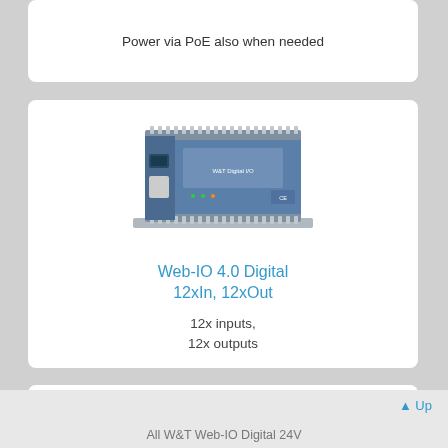Power via PoE also when needed
[Figure (photo): W&T Web-IO 4.0 Digital 12xIn 12xOut device mounted on DIN rail, blue/grey industrial I/O module with terminal connectors]
Web-IO 4.0 Digital
12xIn, 12xOut
12x inputs,
12x outputs
[Figure (photo): Two W&T Web-IO devices side by side on DIN rail mount – smaller blue module with green terminal block and larger white/blue module]
Other Web-IOs
All W&T Web-IO Digital 24V